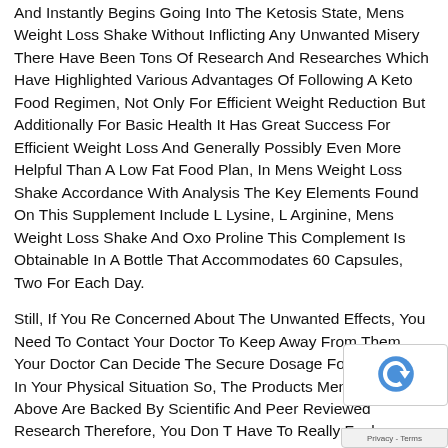And Instantly Begins Going Into The Ketosis State, Mens Weight Loss Shake Without Inflicting Any Unwanted Misery There Have Been Tons Of Research And Researches Which Have Highlighted Various Advantages Of Following A Keto Food Regimen, Not Only For Efficient Weight Reduction But Additionally For Basic Health It Has Great Success For Efficient Weight Loss And Generally Possibly Even More Helpful Than A Low Fat Food Plan, In Mens Weight Loss Shake Accordance With Analysis The Key Elements Found On This Supplement Include L Lysine, L Arginine, Mens Weight Loss Shake And Oxo Proline This Complement Is Obtainable In A Bottle That Accommodates 60 Capsules, Two For Each Day.
Still, If You Re Concerned About The Unwanted Effects, You Need To Contact Your Doctor To Keep Away From Them Your Doctor Can Decide The Secure Dosage For You Based In Your Physical Situation So, The Products Mentioned Above Are Backed By Scientific And Peer Reviewed Research Therefore, You Don T Have To Really Feel Skeptical Whereas Consuming These Efficient Products.
Ps For Quick Results Mens Weight Loss Shake And Long Success, You Want To Mix Food Plan Supplements With Workouts And Healthy Diet If You Want To Drop These Kilos Fast, My Number One Really Helpful Urge For Food